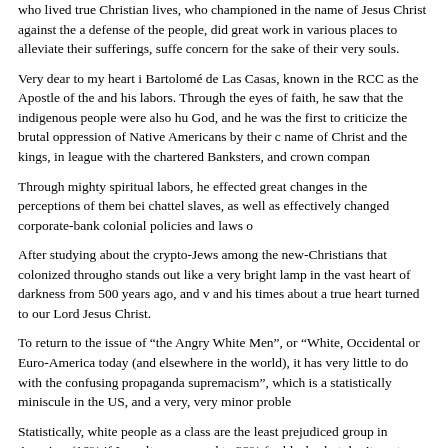who lived true Christian lives, who championed in the name of Jesus Christ against the defense of the people, did great work in various places to alleviate their sufferings, concern for the sake of their very souls.
Very dear to my heart i Bartolomé de Las Casas, known in the RCC as the Apostle of the and his labors. Through the eyes of faith, he saw that the indigenous people were also God, and he was the first to criticize the brutal oppression of Native Americans by their name of Christ and the kings, in league with the chartered Banksters, and crown compan
Through mighty spiritual labors, he effected great changes in the perceptions of them be chattel slaves, as well as effectively changed corporate-bank colonial policies and laws
After studying about the crypto-Jews among the new-Christians that colonized throughout stands out like a very bright lamp in the vast heart of darkness from 500 years ago, and and his times about a true heart turned to our Lord Jesus Christ.
To return to the issue of “the Angry White Men”, or “White, Occidental or Euro-America today (and elsewhere in the world), it has very little to do with the confusing propaganda supremacism”, which is a statistically miniscule in the US, and a very, very minor proble
Statistically, white people as a class are the least prejudiced group in America, (16% if results, compared to 38% for blacks, but don’t quote me.)
Nevertheless, “the white supremacist” movements are a very real symptom of the ongoing overarching systematic social, psychological and cultural drive to defame, demoralize and means of subtle racist Judeo-Marxist Fabian Socialism and Red-Feminisim, not just a ho Americans”, but Americans of diverse European/Eurasian continental origins, predominately Christian in origin. It’s directed particularly at the men, and its been going